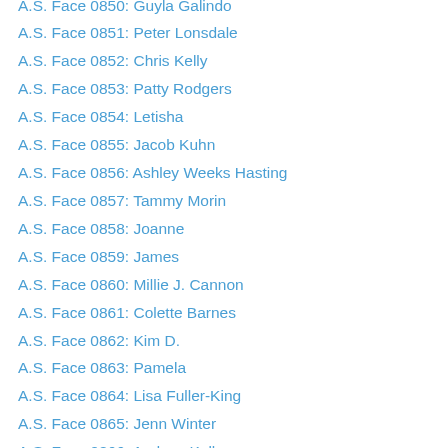A.S. Face 0850: Guyla Galindo
A.S. Face 0851: Peter Lonsdale
A.S. Face 0852: Chris Kelly
A.S. Face 0853: Patty Rodgers
A.S. Face 0854: Letisha
A.S. Face 0855: Jacob Kuhn
A.S. Face 0856: Ashley Weeks Hasting
A.S. Face 0857: Tammy Morin
A.S. Face 0858: Joanne
A.S. Face 0859: James
A.S. Face 0860: Millie J. Cannon
A.S. Face 0861: Colette Barnes
A.S. Face 0862: Kim D.
A.S. Face 0863: Pamela
A.S. Face 0864: Lisa Fuller-King
A.S. Face 0865: Jenn Winter
A.S. Face 0866: Andrew Kelly
A.S. Face 0867: Gail Wolfskill
A.S. Face 0868: Donnie Hogan
A.S. Face 0869: Suzann Geisler